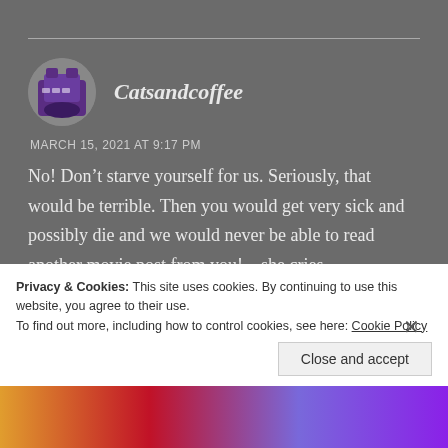Catsandcoffee
MARCH 15, 2021 AT 9:17 PM
No! Don’t starve yourself for us. Seriously, that would be terrible. Then you would get very sick and possibly die and we would never be able to read another movie post from you!....she cries dramatically!
Privacy & Cookies: This site uses cookies. By continuing to use this website, you agree to their use.
To find out more, including how to control cookies, see here: Cookie Policy
Close and accept